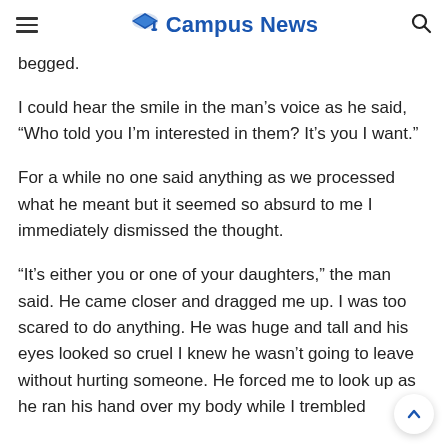Campus News
begged.
I could hear the smile in the man’s voice as he said, “Who told you I’m interested in them? It’s you I want.”
For a while no one said anything as we processed what he meant but it seemed so absurd to me I immediately dismissed the thought.
“It’s either you or one of your daughters,” the man said. He came closer and dragged me up. I was too scared to do anything. He was huge and tall and his eyes looked so cruel I knew he wasn’t going to leave without hurting someone. He forced me to look up as he ran his hand over my body while I trembled